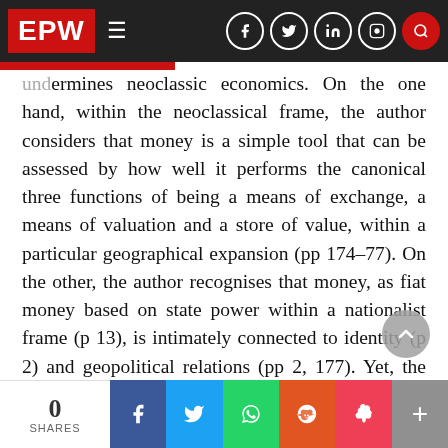EPW
undermines neoclassic economics. On the one hand, within the neoclassical frame, the author considers that money is a simple tool that can be assessed by how well it performs the canonical three functions of being a means of exchange, a means of valuation and a store of value, within a particular geographical expansion (pp 174–77). On the other, the author recognises that money, as fiat money based on state power within a nationalist frame (p 13), is intimately connected to identity (p 2) and geopolitical relations (pp 2, 177). Yet, the author leaves these latter elements out of analysis, just like she does with what she
0 SHARES